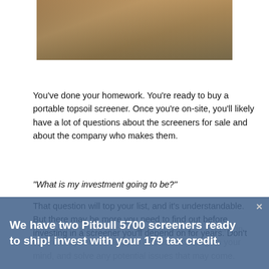[Figure (photo): Close-up photograph of dirt/topsoil and gravel on the ground]
You've done your homework. You're ready to buy a portable topsoil screener. Once you're on-site, you'll likely have a lot of questions about the screeners for sale and about the company who makes them.
“What is my investment going to be?”
That question will top your list, and it’s understandable. But there may be more you need to find out before investing in a screener you’ll depend on for years. Don’t hold back if you’re unsure about anything — experts in the industry will be happy to address anything on your mind, and solve any potential issues that may come.
We have two Pitbull 5700 screeners ready to ship! invest with your 179 tax credit.